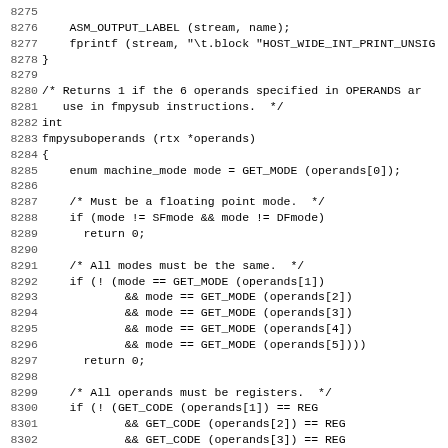Source code listing lines 8275-8306 showing C function fmpysuboperands